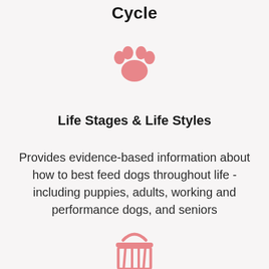Cycle
[Figure (illustration): Pink paw print icon]
Life Stages & Life Styles
Provides evidence-based information about how to best feed dogs throughout life - including puppies, adults, working and performance dogs, and seniors
[Figure (illustration): Pink shopping basket icon (partial, at bottom of page)]